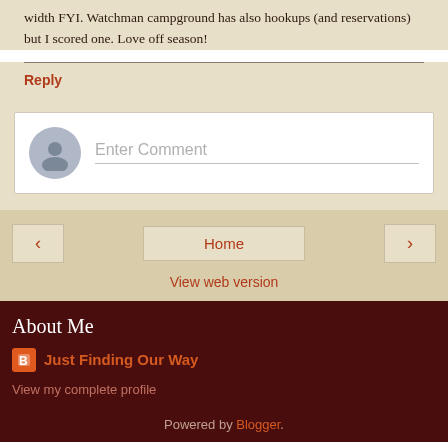width FYI. Watchman campground has also hookups (and reservations) but I scored one. Love off season!
Reply
[Figure (screenshot): Comment input box with avatar placeholder and 'Enter Comment' field]
Home
View web version
About Me
Just Finding Our Way
View my complete profile
Powered by Blogger.